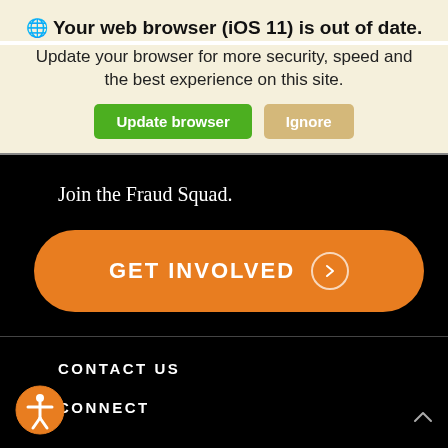Your web browser (iOS 11) is out of date.
Update your browser for more security, speed and the best experience on this site.
Update browser | Ignore
Join the Fraud Squad.
GET INVOLVED
CONTACT US
CONNECT